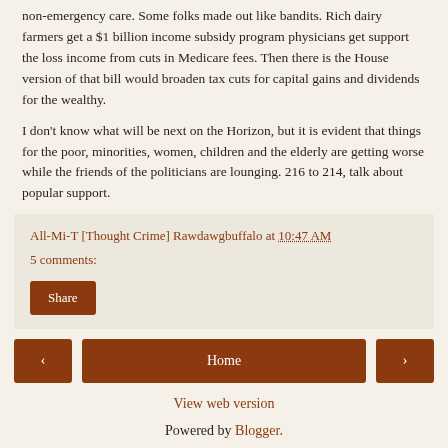non-emergency care. Some folks made out like bandits. Rich dairy farmers get a $1 billion income subsidy program physicians get support the loss income from cuts in Medicare fees. Then there is the House version of that bill would broaden tax cuts for capital gains and dividends for the wealthy.
I don't know what will be next on the Horizon, but it is evident that things for the poor, minorities, women, children and the elderly are getting worse while the friends of the politicians are lounging. 216 to 214, talk about popular support.
All-Mi-T [Thought Crime] Rawdawgbuffalo at 10:47 AM
5 comments:
Share
Home
View web version
Powered by Blogger.